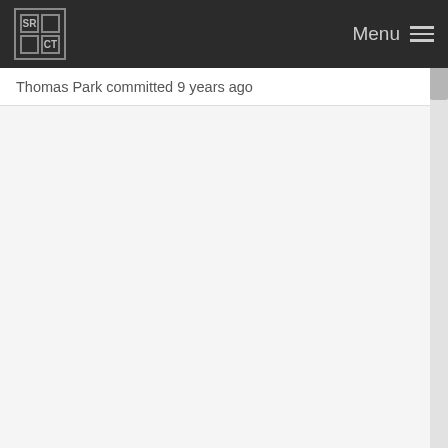SRCT | Menu
Thomas Park committed 9 years ago
Host website on Github
Thomas Park committed 10 years ago
index: new preview pages with tables, nav, labels, ...
Thomas Park committed 9 years ago